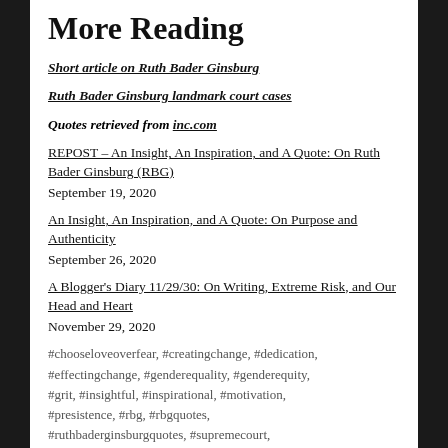More Reading
Short article on Ruth Bader Ginsburg
Ruth Bader Ginsburg landmark court cases
Quotes retrieved from inc.com
REPOST – An Insight, An Inspiration, and A Quote: On Ruth Bader Ginsburg (RBG)
September 19, 2020
An Insight, An Inspiration, and A Quote: On Purpose and Authenticity
September 26, 2020
A Blogger's Diary 11/29/30: On Writing, Extreme Risk, and Our Head and Heart
November 29, 2020
#chooseloveoverfear, #creatingchange, #dedication, #effectingchange, #genderequality, #genderequity, #grit, #insightful, #inspirational, #motivation, #presistence, #rbg, #rbgquotes, #ruthbaderginsburgquotes, #supremecourt,